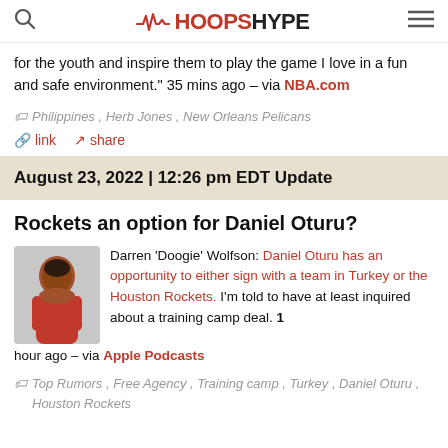HoopsHype
for the youth and inspire them to play the game I love in a fun and safe environment." 35 mins ago – via NBA.com
Philippines, Herb Jones, New Orleans Pelicans
link  share
August 23, 2022 | 12:26 pm EDT Update
Rockets an option for Daniel Oturu?
Darren 'Doogie' Wolfson: Daniel Oturu has an opportunity to either sign with a team in Turkey or the Houston Rockets. I'm told to have at least inquired about a training camp deal. 1 hour ago – via Apple Podcasts
Top Rumors, Free Agency, Training camp, Turkey, Daniel Oturu, Houston Rockets